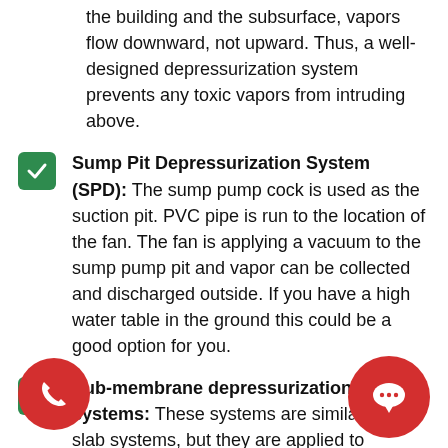the building and the subsurface, vapors flow downward, not upward. Thus, a well-designed depressurization system prevents any toxic vapors from intruding above.
Sump Pit Depressurization System (SPD): The sump pump cock is used as the suction pit. PVC pipe is run to the location of the fan. The fan is applying a vacuum to the sump pump pit and vapor can be collected and discharged outside. If you have a high water table in the ground this could be a good option for you.
Sub-membrane depressurization systems: These systems are similar to sub-slab systems, but they are applied to buildings with crawlspaces, where there is either no slab or a partial slab. A vapor barrier (i.e., membrane) that is impermeable to gases is placed under the floor or directly on and one or more suction pits are placed beneath the membrane. Like subslab systems, they